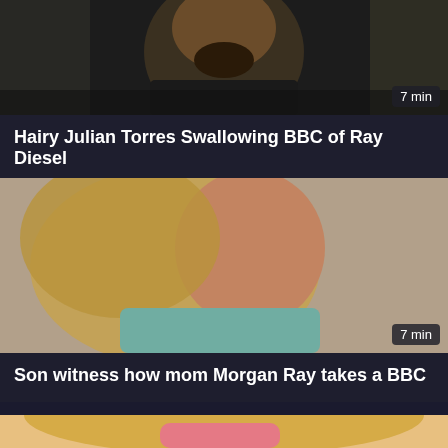[Figure (photo): Video thumbnail showing a man with a beard, dark background, with a '7 min' duration badge in the bottom right corner.]
Hairy Julian Torres Swallowing BBC of Ray Diesel
[Figure (photo): Video thumbnail showing a blonde woman looking up, with a '7 min' duration badge in the bottom right corner.]
Son witness how mom Morgan Ray takes a BBC
[Figure (photo): Partial video thumbnail showing a woman with blonde hair and pink clothing, cropped at bottom of page.]